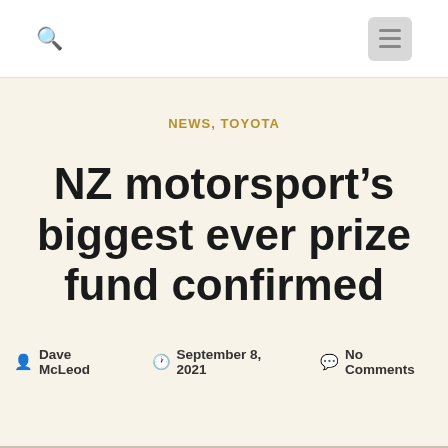Search | Menu
NEWS, TOYOTA
NZ motorsport's biggest ever prize fund confirmed
Dave McLeod  September 8, 2021  No Comments